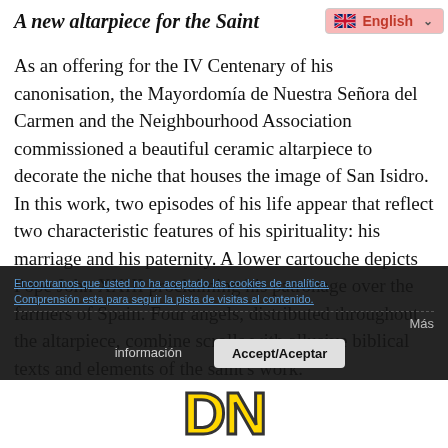A new altarpiece for the Saint
[Figure (screenshot): UK flag icon with English language selector dropdown, pink background]
As an offering for the IV Centenary of his canonisation, the Mayordomía de Nuestra Señora del Carmen and the Neighbourhood Association commissioned a beautiful ceramic altarpiece to decorate the niche that houses the image of San Isidro. In this work, two episodes of his life appear that reflect two characteristic features of his spirituality: his marriage and his paternity. A lower cartouche depicts Pope John XXIII proclaiming his patronage over the farmers of Spain. Four angels, distributed throughout the altarpiece, combine scrolls with allusive biblical texts and elements of the saint's work.
[Figure (screenshot): Cookie consent overlay with blue hyperlink text, 'Más' link, información and Accept/Aceptar buttons on dark background]
[Figure (logo): Yellow bold letters DN logo at the bottom of the page]